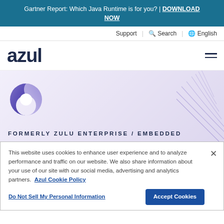Gartner Report: Which Java Runtime is for you? | DOWNLOAD NOW
Support | Search | English
[Figure (logo): Azul company logo in dark navy text]
[Figure (illustration): Hero section with Azul donut/ring product icon and decorative concentric arc lines on lavender gradient background]
FORMERLY ZULU ENTERPRISE / EMBEDDED
This website uses cookies to enhance user experience and to analyze performance and traffic on our website. We also share information about your use of our site with our social media, advertising and analytics partners. Azul Cookie Policy
Do Not Sell My Personal Information | Accept Cookies